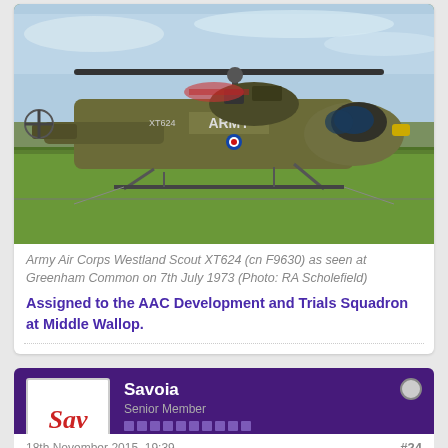[Figure (photo): Army helicopter Westland Scout XT624 on grass airfield with 'ARMY' markings visible on fuselage]
Army Air Corps Westland Scout XT624 (cn F9630) as seen at Greenham Common on 7th July 1973 (Photo: RA Scholefield)
Assigned to the AAC Development and Trials Squadron at Middle Wallop.
Savoia
Senior Member
Join Date: Jan 2014   Posts: 4938
18th November 2015, 19:39    #24